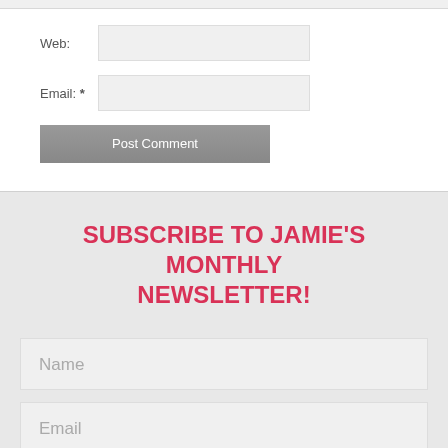Web:
Email: *
Post Comment
SUBSCRIBE TO JAMIE'S MONTHLY NEWSLETTER!
Name
Email
SUBSCRIBE